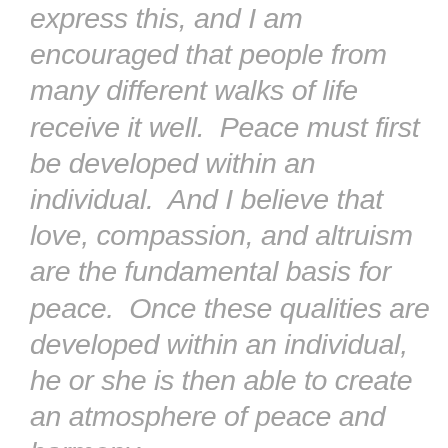express this, and I am encouraged that people from many different walks of life receive it well.  Peace must first be developed within an individual.  And I believe that love, compassion, and altruism are the fundamental basis for peace.  Once these qualities are developed within an individual, he or she is then able to create an atmosphere of peace and harmony.  This atmosphere can be expanded and extended from the individual to his family, from the family to the community and eventually to the whole world." - Thich Nhat Hanh